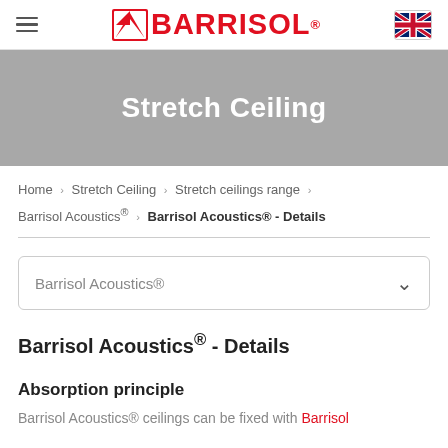BARRISOL® — Navigation header with hamburger menu and UK flag
Stretch Ceiling
Home › Stretch Ceiling › Stretch ceilings range › Barrisol Acoustics® › Barrisol Acoustics® - Details
Barrisol Acoustics®
Barrisol Acoustics® - Details
Absorption principle
Barrisol Acoustics® ceilings can be fixed with Barrisol